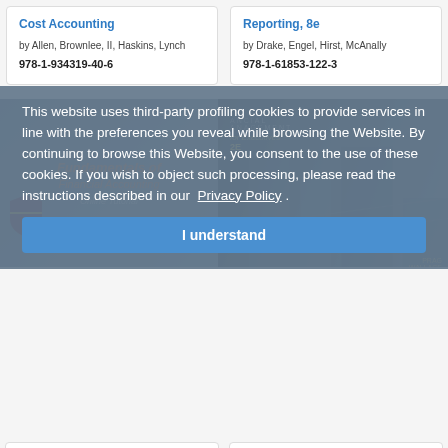Cost Accounting
by Allen, Brownlee, II, Haskins, Lynch
978-1-934319-40-6
Reporting, 8e
by Drake, Engel, Hirst, McAnally
978-1-61853-122-3
[Figure (photo): Book covers for Fundamentals of Financial Accounting Tutorial and Financial Management for Executives 2e]
This website uses third-party profiling cookies to provide services in line with the preferences you reveal while browsing the Website. By continuing to browse this Website, you consent to the use of these cookies. If you wish to object such processing, please read the instructions described in our  Privacy Policy .
I understand
Fundamentals of Financial Accounting Tutorial
978-1-61853-133-9
Financial Management for Executives, 2e
by Prag, Wallace
978-1-61853-049-3